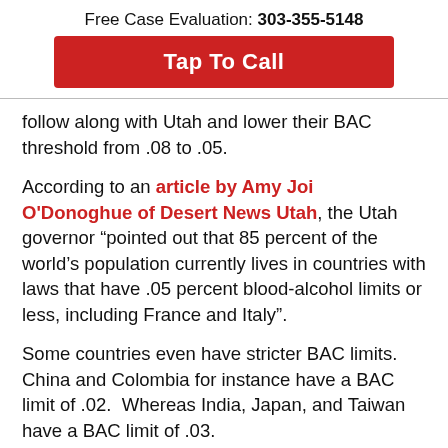Free Case Evaluation: 303-355-5148
[Figure (other): Red button with white text: Tap To Call]
follow along with Utah and lower their BAC threshold from .08 to .05.
According to an article by Amy Joi O'Donoghue of Desert News Utah, the Utah governor “pointed out that 85 percent of the world’s population currently lives in countries with laws that have .05 percent blood-alcohol limits or less, including France and Italy”.
Some countries even have stricter BAC limits. China and Colombia for instance have a BAC limit of .02.  Whereas India, Japan, and Taiwan have a BAC limit of .03.